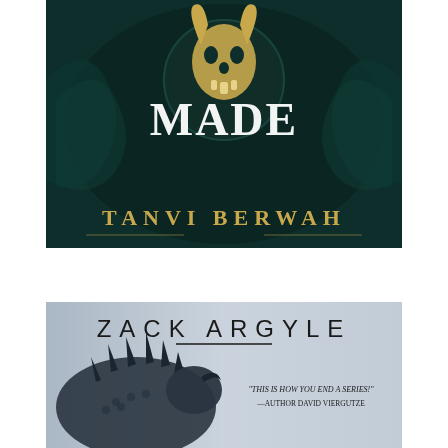[Figure (illustration): Book cover for a fantasy novel showing a golden horned skull/beast head against dark teal ornate background. Title 'MADE' in large white serif letters. Author name 'TANVI BERWAH' in large gold/amber spaced letters at the bottom.]
[Figure (illustration): Book cover for a fantasy novel by Zack Argyle. Light blue-grey misty background with a large dark armored dragon/beast creature on the left. Author name 'ZACK ARGYLE' in large spaced black letters at top with a horizontal line underneath. Pull quote: 'THIS IS HOW YOU END A SERIES!' — AUTHOR DAVID VIERGUTZE]